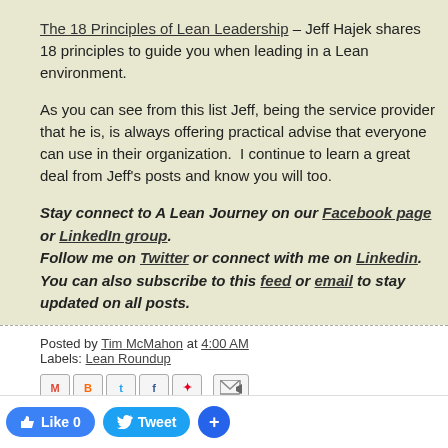The 18 Principles of Lean Leadership – Jeff Hajek shares 18 principles to guide you when leading in a Lean environment.
As you can see from this list Jeff, being the service provider that he is, is always offering practical advise that everyone can use in their organization.  I continue to learn a great deal from Jeff's posts and know you will too.
Stay connect to A Lean Journey on our Facebook page or LinkedIn group.
Follow me on Twitter or connect with me on Linkedin.
You can also subscribe to this feed or email to stay updated on all posts.
Posted by Tim McMahon at 4:00 AM
Labels: Lean Roundup
1 comment: